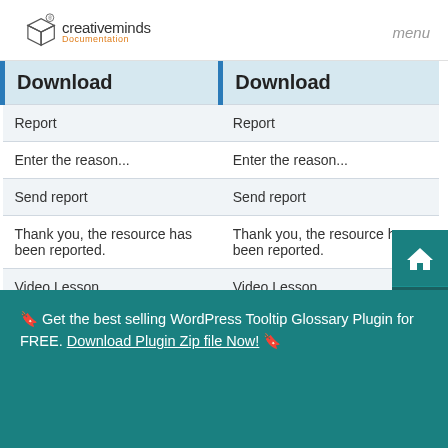creativeminds Documentation | menu
| Download | Download |
| --- | --- |
| Report | Report |
| Enter the reason... | Enter the reason... |
| Send report | Send report |
| Thank you, the resource has been reported. | Thank you, the resource has been reported. |
| Video Lesson | Video Lesson |
🔖 Get the best selling WordPress Tooltip Glossary Plugin for FREE. Download Plugin Zip file Now! 🔖